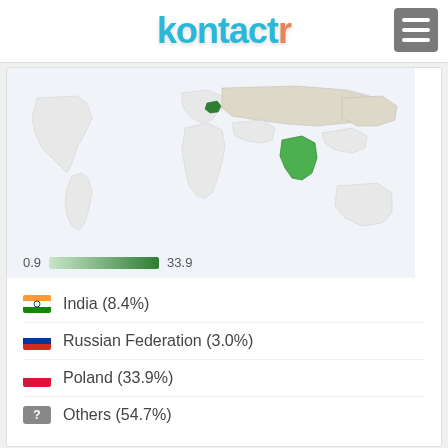[Figure (logo): Kontactr logo with cyan/teal text and orange 'r', with hamburger menu button in top right]
[Figure (map): World map showing geographic distribution of visitors, with Poland and India highlighted in green. Color scale from 0.9 to 33.9.]
India (8.4%)
Russian Federation (3.0%)
Poland (33.9%)
Others (54.7%)